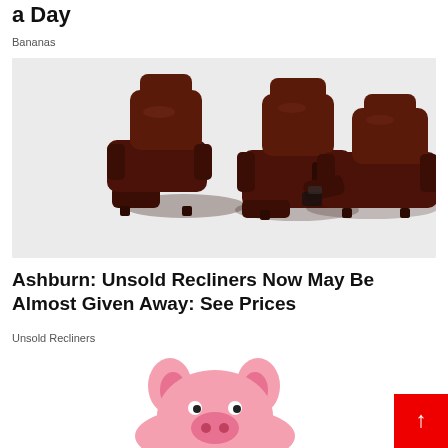a Day
Bananas
[Figure (photo): Three dark brown leather recliners shown from different angles — one upright, one partially reclined, one fully reclined — on a light grey background]
Ashburn: Unsold Recliners Now May Be Almost Given Away: See Prices
Unsold Recliners
[Figure (illustration): Partial view of a cartoon pig illustration at the bottom of the page]